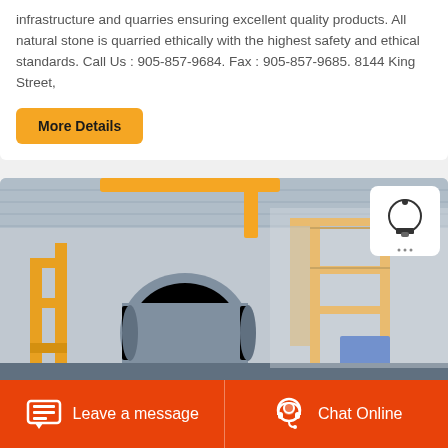infrastructure and quarries ensuring excellent quality products. All natural stone is quarried ethically with the highest safety and ethical standards. Call Us : 905-857-9684. Fax : 905-857-9685. 8144 King Street,
More Details
[Figure (photo): Industrial factory interior showing large yellow-painted steel machinery, gears, conveyor equipment, and scaffolding inside a metal-roofed warehouse facility.]
Leave a message
Chat Online